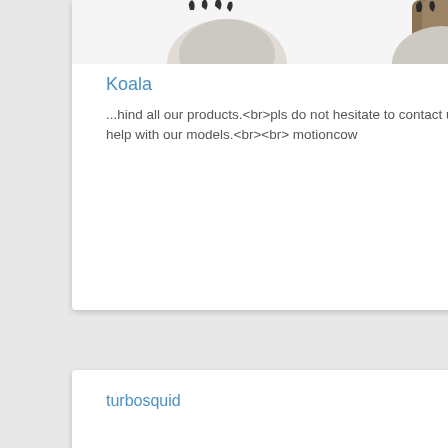[Figure (photo): Koala feet/claws image cropped at top with copyright mark '© MotionCow']
Koala
...hind all our products.<br>pls do not hesitate to contact us if you need help with our models.<br><br> motioncow
turbosquid    free
[Figure (photo): Broken image placeholder labeled 'Low Poly Koala']
Low Poly Koala